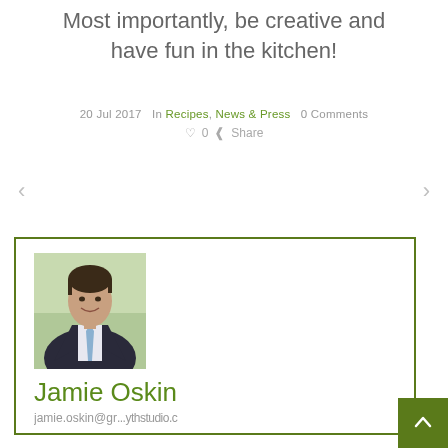Most importantly, be creative and have fun in the kitchen!
20 Jul 2017   In Recipes, News & Press   0 Comments   ♡ 0   Share
[Figure (illustration): Left and right navigation arrows for post navigation]
[Figure (photo): Professional headshot of Jamie Oskin, a man in a dark suit with a blue tie, smiling outdoors]
Jamie Oskin
jamie.oskin@gr...